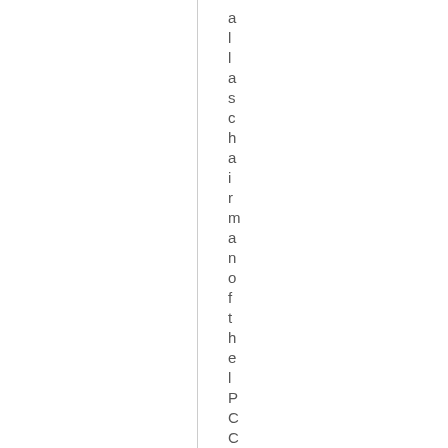all as chairman of the | PCC . af